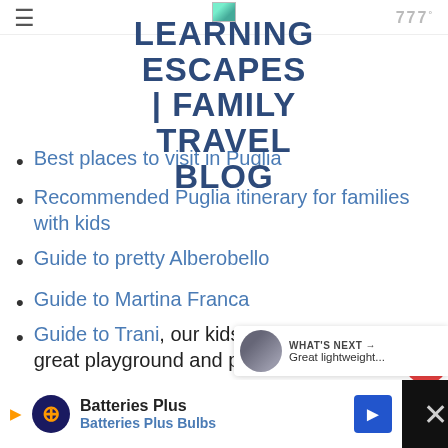LEARNING ESCAPES | FAMILY TRAVEL BLOG
Best places to visit in Puglia
Recommended Puglia itinerary for families with kids
Guide to pretty Alberobello
Guide to Martina Franca
Guide to Trani, our kids favorite thanks to great playground and park
Guide to Locorotondo, pretty town... the crowds
[Figure (screenshot): Batteries Plus advertisement banner at bottom of page]
Ro... h m°by